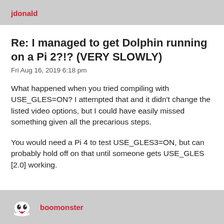jdonald
Re: I managed to get Dolphin running on a Pi 2?!? (VERY SLOWLY)
Fri Aug 16, 2019 6:18 pm
What happened when you tried compiling with USE_GLES=ON? I attempted that and it didn't change the listed video options, but I could have easily missed something given all the precarious steps.
You would need a Pi 4 to test USE_GLES3=ON, but can probably hold off on that until someone gets USE_GLES [2.0] working.
boomonster